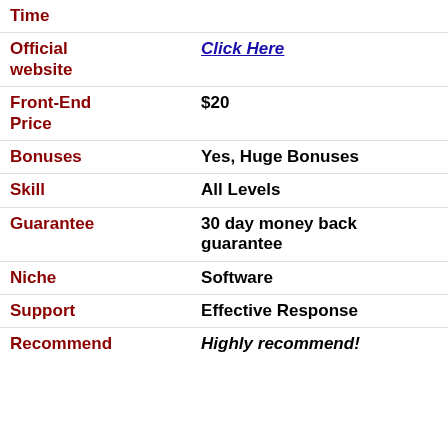| Field | Value |
| --- | --- |
| Time | Click Here |
| Official website | Click Here |
| Front-End Price | $20 |
| Bonuses | Yes, Huge Bonuses |
| Skill | All Levels |
| Guarantee | 30 day money back guarantee |
| Niche | Software |
| Support | Effective Response |
| Recommend | Highly recommend! |